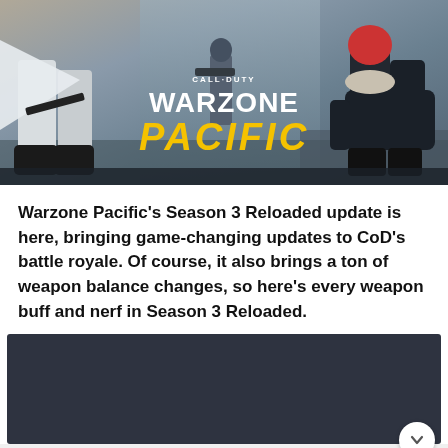[Figure (illustration): Call of Duty Warzone Pacific promotional banner image showing game characters/soldiers and the Warzone Pacific logo with yellow PACIFIC text]
Warzone Pacific's Season 3 Reloaded update is here, bringing game-changing updates to CoD's battle royale. Of course, it also brings a ton of weapon balance changes, so here's every weapon buff and nerf in Season 3 Reloaded.
[Figure (screenshot): Dark grey/navy rectangular content box, partially visible, with a white circular arrow button in the bottom right corner]